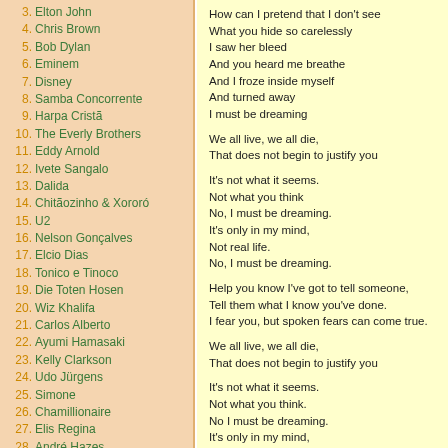3. Elton John
4. Chris Brown
5. Bob Dylan
6. Eminem
7. Disney
8. Samba Concorrente
9. Harpa Cristã
10. The Everly Brothers
11. Eddy Arnold
12. Ivete Sangalo
13. Dalida
14. Chitãozinho & Xororó
15. U2
16. Nelson Gonçalves
17. Elcio Dias
18. Tonico e Tinoco
19. Die Toten Hosen
20. Wiz Khalifa
21. Carlos Alberto
22. Ayumi Hamasaki
23. Kelly Clarkson
24. Udo Jürgens
25. Simone
26. Chamillionaire
27. Elis Regina
28. André Hazes
29. ...
How can I pretend that I don't see
What you hide so carelessly
I saw her bleed
And you heard me breathe
And I froze inside myself
And turned away
I must be dreaming

We all live, we all die,
That does not begin to justify you

It's not what it seems.
Not what you think
No, I must be dreaming.
It's only in my mind,
Not real life.
No, I must be dreaming.

Help you know I've got to tell someone,
Tell them what I know you've done.
I fear you, but spoken fears can come true.

We all live, we all die,
That does not begin to justify you

It's not what it seems.
Not what you think.
No I must be dreaming.
It's only in my mind,
Not real life.
No I must be dreaming.

We all live,
We all die,
That does not begin to justify you

It's not what it seems
Not what you think